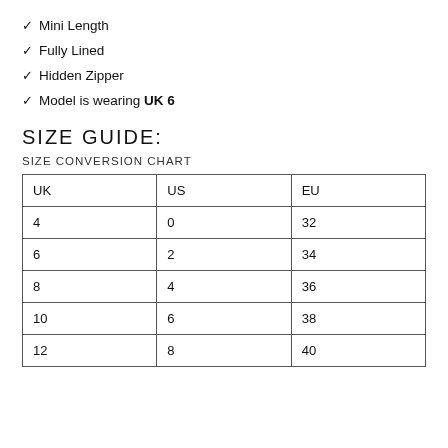✓ Mini Length
✓ Fully Lined
✓ Hidden Zipper
✓ Model is wearing UK 6
SIZE GUIDE:
SIZE CONVERSION CHART
| UK | US | EU |
| --- | --- | --- |
| 4 | 0 | 32 |
| 6 | 2 | 34 |
| 8 | 4 | 36 |
| 10 | 6 | 38 |
| 12 | 8 | 40 |